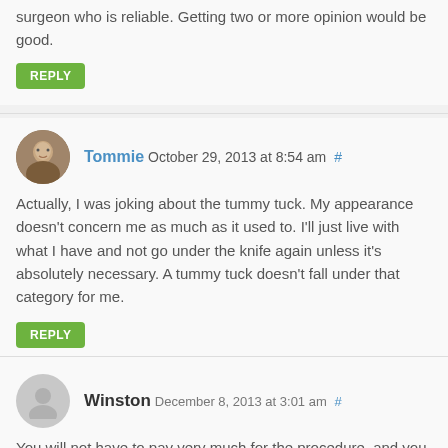surgeon who is reliable. Getting two or more opinion would be good.
REPLY
Tommie October 29, 2013 at 8:54 am #
Actually, I was joking about the tummy tuck. My appearance doesn't concern me as much as it used to. I'll just live with what I have and not go under the knife again unless it's absolutely necessary. A tummy tuck doesn't fall under that category for me.
REPLY
Winston December 8, 2013 at 3:01 am #
You will not have to pay very much for the procedure, and you will receive the same quality (or